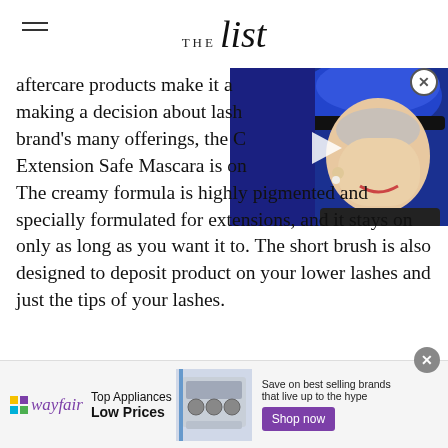THE list
[Figure (screenshot): Video overlay showing an elderly woman wearing a bright blue hat, smiling, with a play button icon over a dark blue background]
aftercare products make it a making a decision about lash brand's many offerings, the C Extension Safe Mascara is on The creamy formula is highly pigmented and specially formulated for extensions, and it stays on only as long as you want it to. The short brush is also designed to deposit product on your lower lashes and just the tips of your lashes.
[Figure (screenshot): Wayfair advertisement banner: Top Appliances Low Prices, Save on best selling brands that live up to the hype, Shop now button, featuring an image of a kitchen stove]